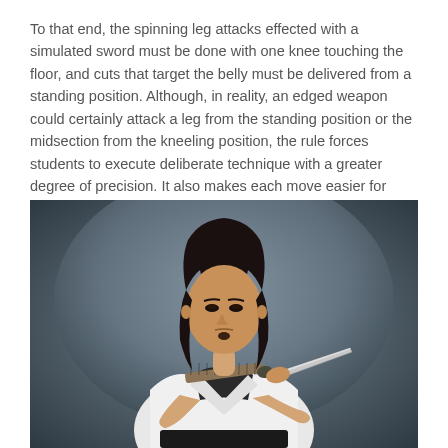To that end, the spinning leg attacks effected with a simulated sword must be done with one knee touching the floor, and cuts that target the belly must be delivered from a standing position. Although, in reality, an edged weapon could certainly attack a leg from the standing position or the midsection from the kneeling position, the rule forces students to execute deliberate technique with a greater degree of precision. It also makes each move easier for officials to judge at tournaments, where more points are awarded for high-difficulty techniques such as spins.
[Figure (photo): A martial artist with long black hair wearing a white dobok (martial arts uniform) holding a sword (katana) in a ready stance against a dark gray gradient background.]